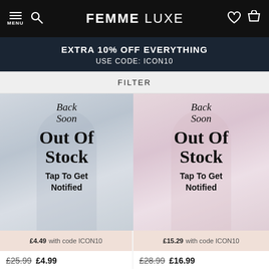FEMME LUXE — navigation bar with menu, search, logo, wishlist, cart
EXTRA 10% OFF EVERYTHING
USE CODE: ICON10
FILTER
[Figure (photo): Product photo of a woman in a blue dress, overlaid with 'Back Soon / Out Of Stock / Tap To Get Notified'. Price bar: £4.49 with code ICON10. Bottom price: £25.99 was, £4.99 now.]
[Figure (photo): Product photo of a woman in a pink dress, overlaid with 'Back Soon / Out Of Stock / Tap To Get Notified'. Price bar: £15.29 with code ICON10. Bottom price: £28.99 was, £16.99 now.]